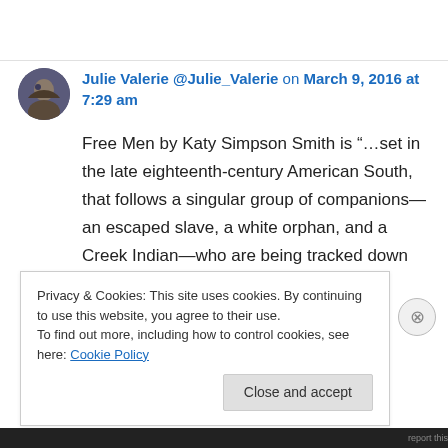Julie Valerie @Julie_Valerie on March 9, 2016 at 7:29 am
Free Men by Katy Simpson Smith is “…set in the late eighteenth-century American South, that follows a singular group of companions—an escaped slave, a white orphan, and a Creek Indian—who are being tracked down for murder.”
WOW!
Privacy & Cookies: This site uses cookies. By continuing to use this website, you agree to their use.
To find out more, including how to control cookies, see here: Cookie Policy